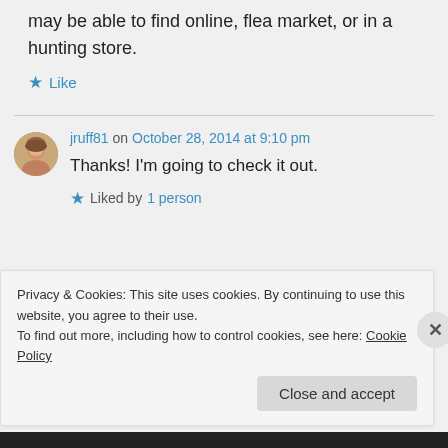may be able to find online, flea market, or in a hunting store.
Like
jruff81 on October 28, 2014 at 9:10 pm
Thanks! I'm going to check it out.
Liked by 1 person
Privacy & Cookies: This site uses cookies. By continuing to use this website, you agree to their use.
To find out more, including how to control cookies, see here: Cookie Policy
Close and accept